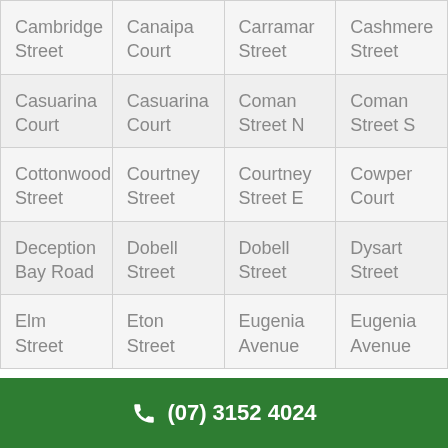| Cambridge Street | Canaipa Court | Carramar Street | Cashmere Street |
| Casuarina Court | Casuarina Court | Coman Street N | Coman Street S |
| Cottonwood Street | Courtney Street | Courtney Street E | Cowper Court |
| Deception Bay Road | Dobell Street | Dobell Street | Dysart Street |
| Elm Street | Eton Street | Eugenia Avenue | Eugenia Avenue |
(07) 3152 4024